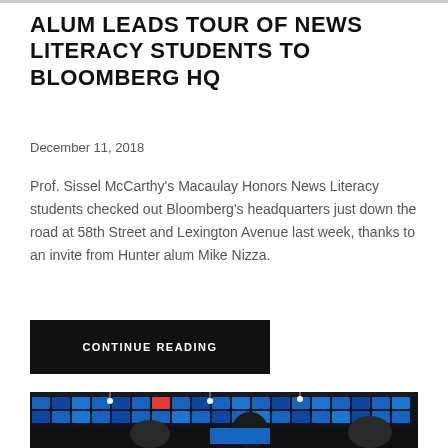ALUM LEADS TOUR OF NEWS LITERACY STUDENTS TO BLOOMBERG HQ
December 11, 2018
Prof. Sissel McCarthy's Macaulay Honors News Literacy students checked out Bloomberg's headquarters just down the road at 58th Street and Lexington Avenue last week, thanks to an invite from Hunter alum Mike Nizza.
CONTINUE READING
[Figure (photo): Interior of Bloomberg headquarters newsroom showing large video walls with blue financial data screens, overhead pendant lights, and people in the foreground.]